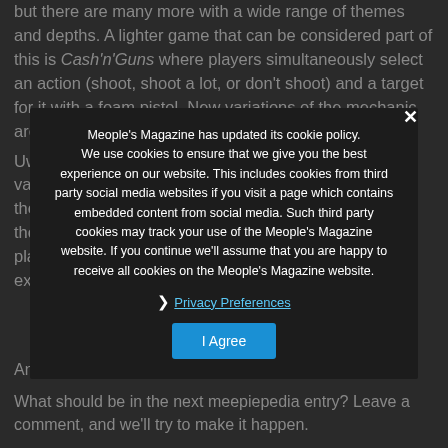but there are many more with a wide range of themes and depths. A lighter game that can be considered part of this is Cash'n'Guns where players simultaneously select an action (shoot, shoot a lot, or don't shoot) and a target for it with a foam pistol. New variations of the mechanic are still created as well, one example being Uwe Rosenberg's Glass Road that uses a two-level variation: first players select a hand of five cards from their full set of actions then from the selected hand of those five cards they simultaneously pick one. Another player's selection matters here as well. One more example...
Meople's Magazine has updated its cookie policy. We use cookies to ensure that we give you the best experience on our website. This includes cookies from third party social media websites if you visit a page which contains embedded content from social media. Such third party cookies may track your use of the Meople's Magazine website. If you continue we'll assume that you are happy to receive all cookies on the Meople's Magazine website.
Privacy Preferences
I Agree
And now you know about simultaneous action selection.
What should be in the next meepiepedia entry? Leave a comment, and we'll try to make it happen.